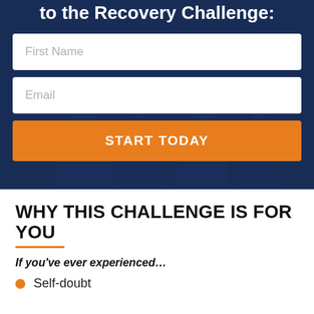to the Recovery Challenge:
[Figure (screenshot): Hero section with dark blue overlay on background photo of people, containing a sign-up form with First Name field, Email field, and START TODAY button]
WHY THIS CHALLENGE IS FOR YOU
If you've ever experienced…
Self-doubt